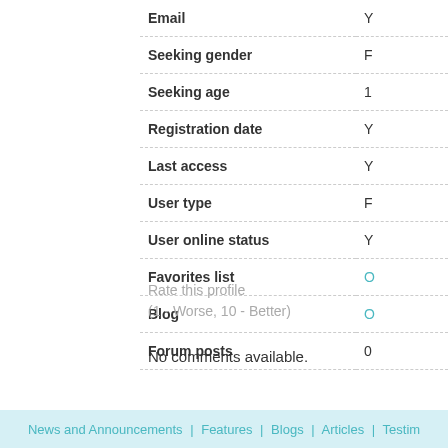| Field | Value |
| --- | --- |
| Email | Y… |
| Seeking gender | F… |
| Seeking age | 1… |
| Registration date | Y… |
| Last access | Y… |
| User type | F… |
| User online status | Y… |
| Favorites list | O… |
| Blog | O… |
| Forum posts | 0… |
Rate this profile
(1 - Worse, 10 - Better)
No comments available.
News and Announcements | Features | Blogs | Articles | Testim…